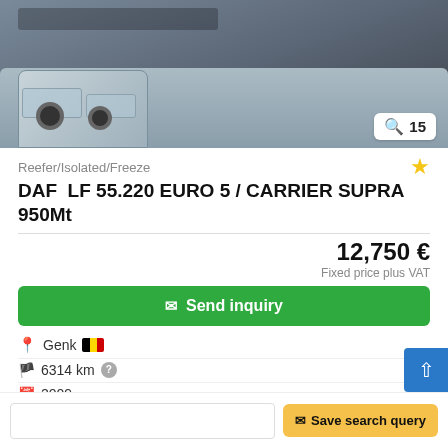[Figure (photo): Front view of a DAF LF refrigerated truck, grey/white cab, photographed in a parking area]
15
Reefer/Isolated/Freeze
DAF LF 55.220 EURO 5 / CARRIER SUPRA 950Mt
12,750 €
Fixed price plus VAT
✉ Send inquiry
Genk
6314 km
2009
used
Save search query